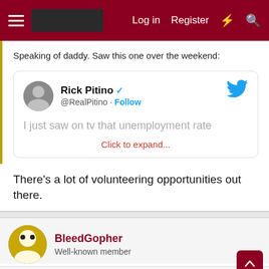Log in  Register
Speaking of daddy. Saw this one over the weekend:
[Figure (screenshot): Embedded tweet from Rick Pitino (@RealPitino) with Follow button and partial tweet text: 'I just saw on tv that unemployment rate' and 'Click to expand...' link]
There's a lot of volunteering opportunities out there.
BleedGopher
Well-known member
Oct 23, 2018  #196
Richard Pitino